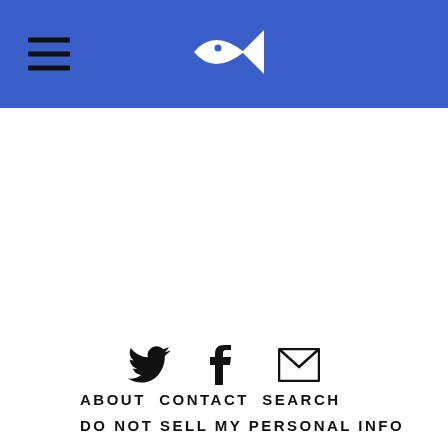Navigation header with hamburger menu and fish logo
[Figure (logo): Three social media icons: Twitter bird, Facebook F, and email envelope]
ABOUT  CONTACT  SEARCH
DO NOT SELL MY PERSONAL INFO